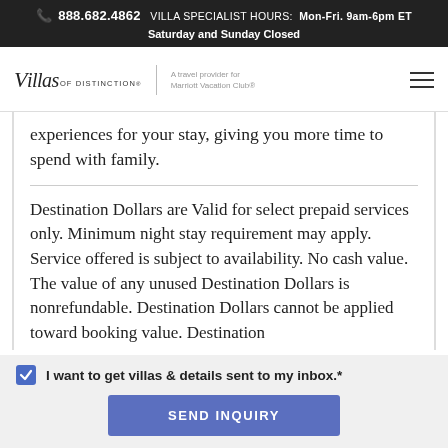📞 888.682.4862   VILLA SPECIALIST HOURS: Mon-Fri. 9am-6pm ET
Saturday and Sunday Closed
[Figure (logo): Villas of Distinction logo with italic script 'Villas' and 'OF DISTINCTION' text. Separated by vertical divider from tagline 'A travel provider for Marriott Vacation Club®'. Hamburger menu icon on right.]
experiences for your stay, giving you more time to spend with family.
Destination Dollars are Valid for select prepaid services only. Minimum night stay requirement may apply. Service offered is subject to availability. No cash value. The value of any unused Destination Dollars is nonrefundable. Destination Dollars cannot be applied toward booking value. Destination
I want to get villas & details sent to my inbox.*
SEND INQUIRY